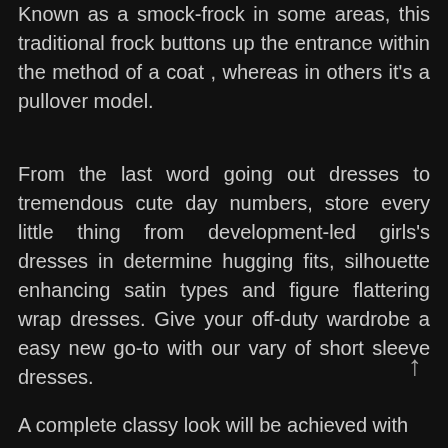Known as a smock-frock in some areas, this traditional frock buttons up the entrance within the method of a coat , whereas in others it's a pullover model.
From the last word going out dresses to tremendous cute day numbers, store every little thing from development-led girls's dresses in determine hugging fits, silhouette enhancing satin types and figure flattering wrap dresses. Give your off-duty wardrobe a easy new go-to with our vary of short sleeve dresses.
A complete classy look will be achieved with